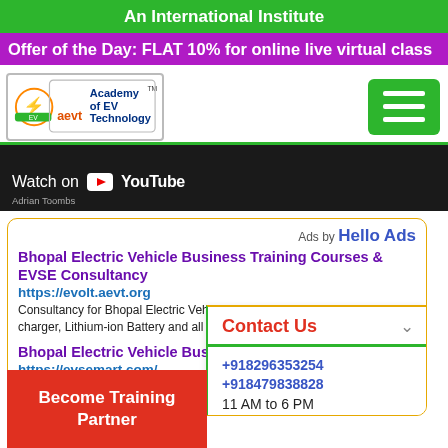An International Institute
Offer of the Day: FLAT 10% for online live virtual class
[Figure (logo): Academy of EV Technology (aevt) logo with electric vehicle graphic]
[Figure (screenshot): YouTube video player strip showing 'Watch on YouTube' with Adrian Toombs attribution]
Ads by Hello Ads
Bhopal Electric Vehicle Business Training Courses & EVSE Consultancy
https://evolt.aevt.org
Consultancy for Bhopal Electric Vehicle Business Training Courses, EV charger, Lithium-ion Battery and all equipmen...
Bhopal Electric Vehicle Business Training...
https://evsemart.com/
Buy Bhopal Electric Vehicle Business Training Co... charger, Lithium-ion Battery and all equipments f...
Contact Us
+918296353254
+918479838828
11 AM to 6 PM
Become Training Partner